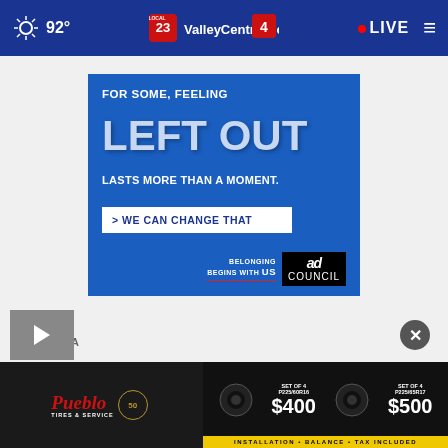92° ValleyCentral.com Local 23/4 LIVE
[Figure (screenshot): Ad banner with blue background. Text: FOR SOME, FEELING LEFT OUT LASTS MORE THAN A MOMENT. > WE CAN CHANGE THAT. Belonging Begins With US. Ad Council logo.]
SPACEX A
[Figure (screenshot): Pueblo Tires & Service ad. SET OF 4 P225/60R16 $400. SET OF 4 P225/65R17 $500. INSTALLATION • BALANCE • TAX INCLUDED.]